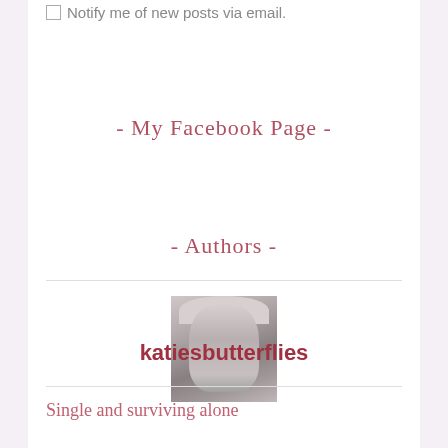Notify me of new posts via email.
- My Facebook Page -
- Authors -
[Figure (photo): Black and white photo of a young woman with light hair]
katiesbutterflies
Single and surviving alone